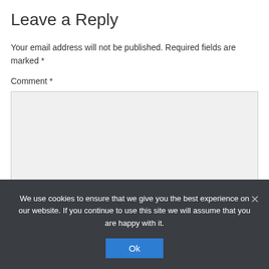Leave a Reply
Your email address will not be published. Required fields are marked *
Comment *
[Figure (screenshot): Empty comment text area input field with light grey background]
We use cookies to ensure that we give you the best experience on our website. If you continue to use this site we will assume that you are happy with it.
Ok